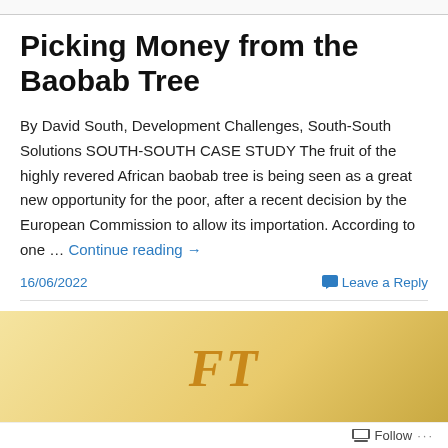Picking Money from the Baobab Tree
By David South, Development Challenges, South-South Solutions SOUTH-SOUTH CASE STUDY The fruit of the highly revered African baobab tree is being seen as a great new opportunity for the poor, after a recent decision by the European Commission to allow its importation. According to one … Continue reading →
16/06/2022
Leave a Reply
[Figure (logo): Financial Times (FT) logo on a golden/yellow gradient background]
Follow ...